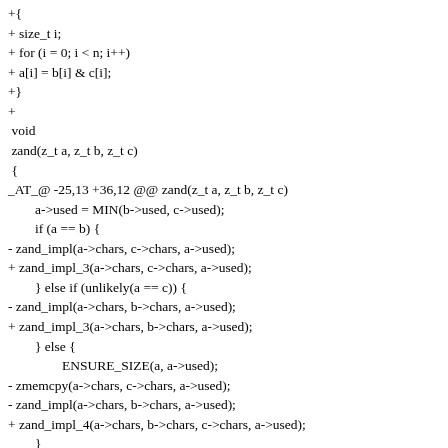+{
+ size_t i;
+ for (i = 0; i < n; i++)
+ a[i] = b[i] & c[i];
+}
+
 void
 zand(z_t a, z_t b, z_t c)
 {
_AT_@ -25,13 +36,12 @@ zand(z_t a, z_t b, z_t c)
        a->used = MIN(b->used, c->used);

        if (a == b) {
- zand_impl(a->chars, c->chars, a->used);
+ zand_impl_3(a->chars, c->chars, a->used);
        } else if (unlikely(a == c)) {
- zand_impl(a->chars, b->chars, a->used);
+ zand_impl_3(a->chars, b->chars, a->used);
        } else {
                ENSURE_SIZE(a, a->used);
- zmemcpy(a->chars, c->chars, a->used);
- zand_impl(a->chars, b->chars, a->used);
+ zand_impl_4(a->chars, b->chars, c->chars, a->used);
        }